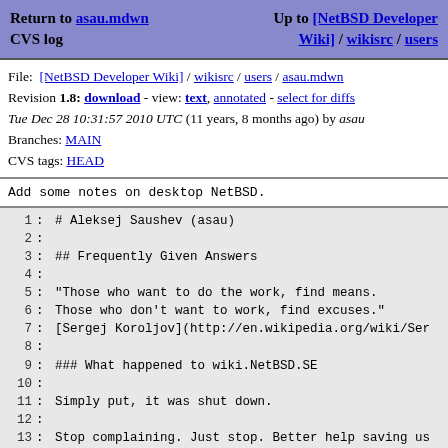Return to asau.mdwn CVS log | Up to [NetBSD Developer Wiki] / wikisrc / users
File: [NetBSD Developer Wiki] / wikisrc / users / asau.mdwn
Revision 1.8: download - view: text, annotated - select for diffs
Tue Dec 28 10:31:57 2010 UTC (11 years, 8 months ago) by asau
Branches: MAIN
CVS tags: HEAD
Add some notes on desktop NetBSD.
1: # Aleksej Saushev (asau)
2:
3: ## Frequently Given Answers
4:
5: "Those who want to do the work, find means.
6: Those who don't want to work, find excuses."
7: [Sergej Koroljov](http://en.wikipedia.org/wiki/Ser
8:
9: ### What happened to wiki.NetBSD.SE
10:
11: Simply put, it was shut down.
12:
13: Stop complaining. Just stop. Better help saving us
14: